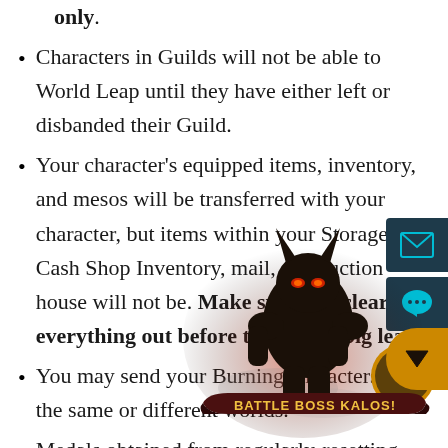only.
Characters in Guilds will not be able to World Leap until they have either left or disbanded their Guild.
Your character's equipped items, inventory, and mesos will be transferred with your character, but items within your Storage, Cash Shop Inventory, mail, and auction house will not be. Make sure you clear everything out before taking the big leap!
You may send your Burning characters all to the same or different worlds.
Medals obtained from regularly-resetting rankings will not be transferred, and your
[Figure (illustration): Battle Boss Kalos game character promotional image with banner reading 'BATTLE BOSS KALOS!', showing an armored boss character with glowing red eyes, plus UI overlay buttons (mail, chat, scroll-down)]